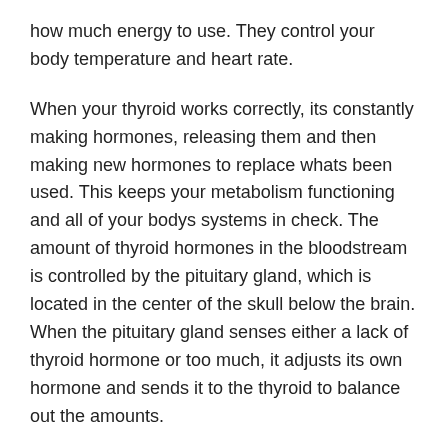how much energy to use. They control your body temperature and heart rate.
When your thyroid works correctly, its constantly making hormones, releasing them and then making new hormones to replace whats been used. This keeps your metabolism functioning and all of your bodys systems in check. The amount of thyroid hormones in the bloodstream is controlled by the pituitary gland, which is located in the center of the skull below the brain. When the pituitary gland senses either a lack of thyroid hormone or too much, it adjusts its own hormone and sends it to the thyroid to balance out the amounts.
If the amount of thyroid hormones is too high or too low , the entire body is impacted.